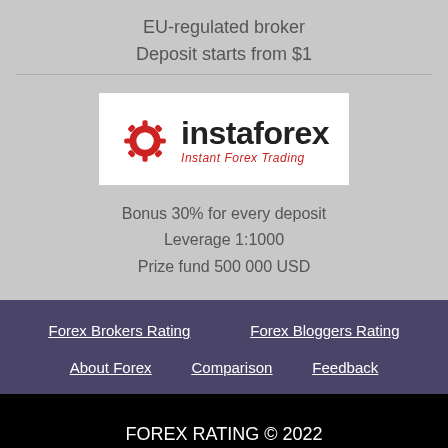EU-regulated broker
Deposit starts from $1
[Figure (logo): InstaForex logo with red gear/arrow icon, bold black 'instaforex' text, and red italic tagline 'Instant Forex Trading']
Bonus 30% for every deposit
Leverage 1:1000
Prize fund 500 000 USD
Forex Brokers Rating    Forex Bloggers Rating
About Forex    Comparison    Feedback
FOREX RATING © 2022
All right reserved